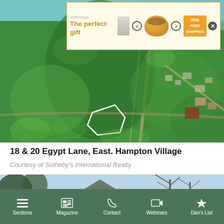[Figure (screenshot): Advertisement banner for 'The perfect gift' from ThePurveys showing a canister, navigation arrows, a bowl with food, and a badge reading '35% FREE SHIPPING']
[Figure (photo): Aerial photograph of East Hampton Village showing green tree canopy, suburban streets, houses, and a white outline marking the property at 18 & 20 Egypt Lane]
18 & 20 Egypt Lane, East. Hampton Village
Courtesy of Sotheby's International Realty
[Figure (photo): Ground-level partial photo of a house with bare trees and blue sky]
Sections  Magazine  Contact  Webinars  Dan's List